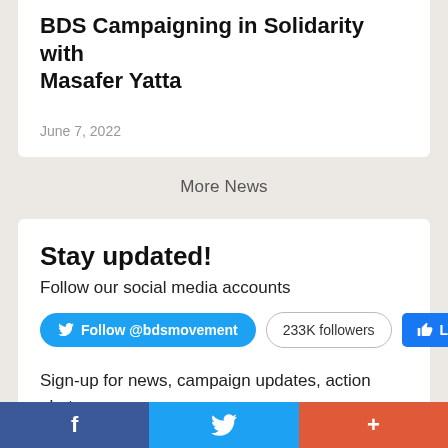BDS Campaigning in Solidarity with Masafer Yatta
June 7, 2022
More News
Stay updated!
Follow our social media accounts
Follow @bdsmovement   233K followers   Like 205K
Sign-up for news, campaign updates, action alerts and fundraisers from the BDS movement.
f  [Twitter bird]  +